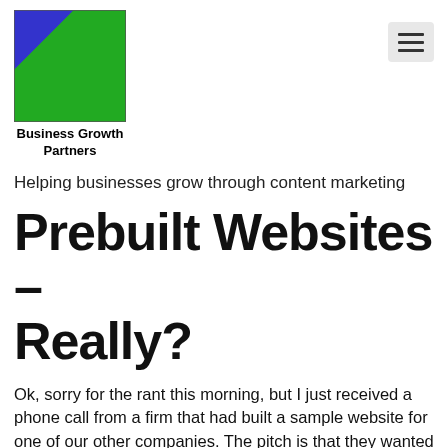[Figure (logo): Business Growth Partners logo: green square with blue triangle in upper-left corner, with a curved green arc dividing the blue from the green area]
Business Growth Partners
Helping businesses grow through content marketing
Prebuilt Websites – Really?
Ok, sorry for the rant this morning, but I just received a phone call from a firm that had built a sample website for one of our other companies. The pitch is that they wanted to send it by email so we could see it and of course there was no obligation to buy it – REALLY????